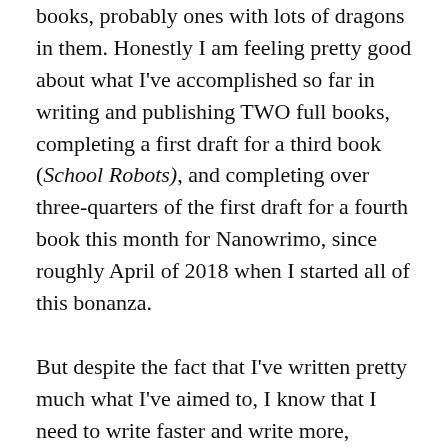books, probably ones with lots of dragons in them. Honestly I am feeling pretty good about what I've accomplished so far in writing and publishing TWO full books, completing a first draft for a third book (School Robots), and completing over three-quarters of the first draft for a fourth book this month for Nanowrimo, since roughly April of 2018 when I started all of this bonanza.
But despite the fact that I've written pretty much what I've aimed to, I know that I need to write faster and write more, especially in completing some of the series I started. With that in mind I have a kind of bold goal for myself in 2020, and I'm not sure if I'm going to be able to meet it, but I'm going to try hella hard. My bold goal is to